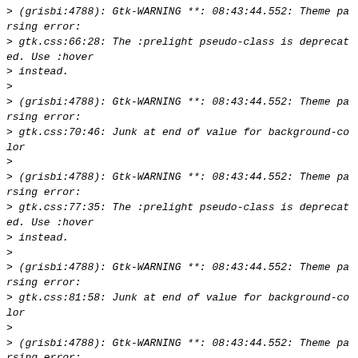> (grisbi:4788): Gtk-WARNING **: 08:43:44.552: Theme parsing error:
> gtk.css:66:28: The :prelight pseudo-class is deprecated. Use :hover
> instead.
>
> (grisbi:4788): Gtk-WARNING **: 08:43:44.552: Theme parsing error:
> gtk.css:70:46: Junk at end of value for background-color
>
> (grisbi:4788): Gtk-WARNING **: 08:43:44.552: Theme parsing error:
> gtk.css:77:35: The :prelight pseudo-class is deprecated. Use :hover
> instead.
>
> (grisbi:4788): Gtk-WARNING **: 08:43:44.552: Theme parsing error:
> gtk.css:81:58: Junk at end of value for background-color
>
> (grisbi:4788): Gtk-WARNING **: 08:43:44.552: Theme parsing error:
> gtk.css:123:31: The :insensitive pseudo-class is deprecated. Use
> :disabled instead.
>
> (grisbi:4788): Gtk-WARNING **: 08:43:44.552: Theme parsing error:
 parsing error: